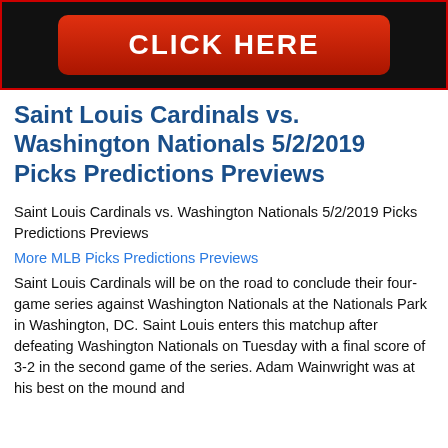[Figure (other): Black banner with red rounded button containing white bold text 'CLICK HERE']
Saint Louis Cardinals vs. Washington Nationals 5/2/2019 Picks Predictions Previews
Saint Louis Cardinals vs. Washington Nationals 5/2/2019 Picks Predictions Previews
More MLB Picks Predictions Previews
Saint Louis Cardinals will be on the road to conclude their four-game series against Washington Nationals at the Nationals Park in Washington, DC. Saint Louis enters this matchup after defeating Washington Nationals on Tuesday with a final score of 3-2 in the second game of the series. Adam Wainwright was at his best on the mound and